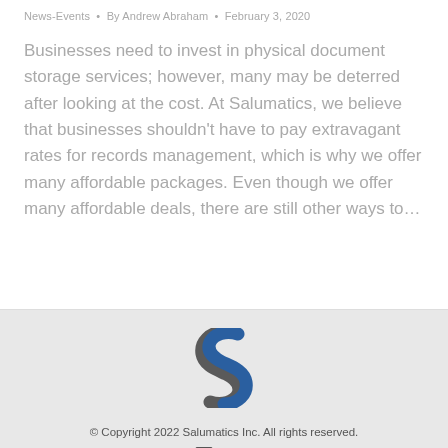News-Events · By Andrew Abraham · February 3, 2020
Businesses need to invest in physical document storage services; however, many may be deterred after looking at the cost. At Salumatics, we believe that businesses shouldn't have to pay extravagant rates for records management, which is why we offer many affordable packages. Even though we offer many affordable deals, there are still other ways to…
[Figure (logo): Salumatics stylized S logo in dark blue/gray]
© Copyright 2022 Salumatics Inc. All rights reserved.
Menu